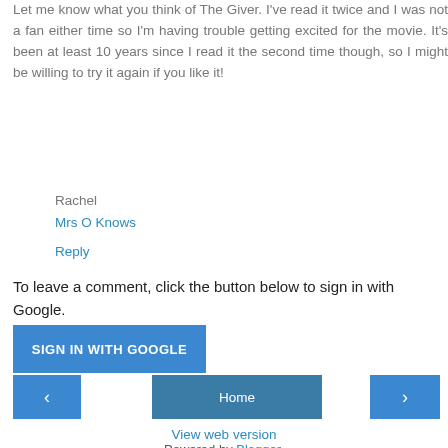Let me know what you think of The Giver. I've read it twice and I was not a fan either time so I'm having trouble getting excited for the movie. It's been at least 10 years since I read it the second time though, so I might be willing to try it again if you like it!
Rachel
Mrs O Knows
Reply
To leave a comment, click the button below to sign in with Google.
SIGN IN WITH GOOGLE
‹
Home
›
View web version
Powered by Blogger.